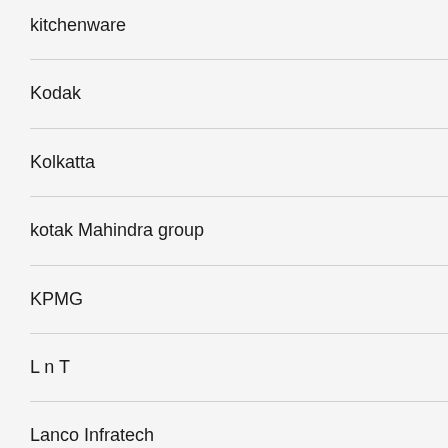kitchenware
Kodak
Kolkatta
kotak Mahindra group
KPMG
L n T
Lanco Infratech
Lanco solar